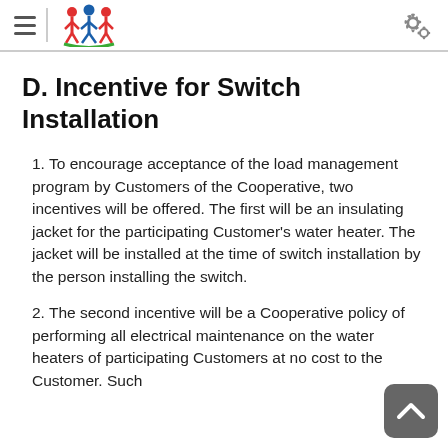D. Incentive for Switch Installation
1. To encourage acceptance of the load management program by Customers of the Cooperative, two incentives will be offered. The first will be an insulating jacket for the participating Customer's water heater. The jacket will be installed at the time of switch installation by the person installing the switch.
2. The second incentive will be a Cooperative policy of performing all electrical maintenance on the water heaters of participating Customers at no cost to the Customer. Such